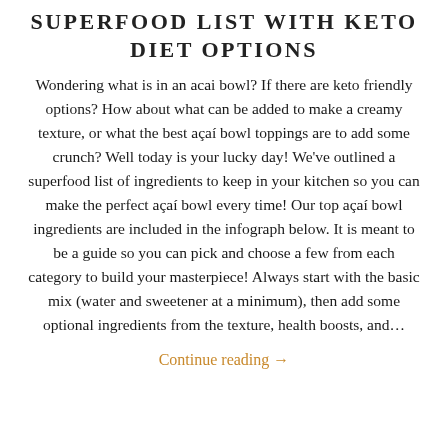SUPERFOOD LIST WITH KETO DIET OPTIONS
Wondering what is in an acai bowl? If there are keto friendly options? How about what can be added to make a creamy texture, or what the best açaí bowl toppings are to add some crunch? Well today is your lucky day! We've outlined a superfood list of ingredients to keep in your kitchen so you can make the perfect açaí bowl every time! Our top açaí bowl ingredients are included in the infograph below. It is meant to be a guide so you can pick and choose a few from each category to build your masterpiece! Always start with the basic mix (water and sweetener at a minimum), then add some optional ingredients from the texture, health boosts, and…
Continue reading →